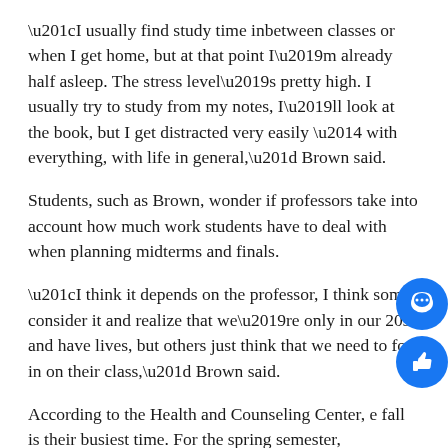“I usually find study time inbetween classes or when I get home, but at that point I’m already half asleep. The stress level’s pretty high. I usually try to study from my notes, I’ll look at the book, but I get distracted very easily — with everything, with life in general,” Brown said.
Students, such as Brown, wonder if professors take into account how much work students have to deal with when planning midterms and finals.
“I think it depends on the professor, I think some consider it and realize that we’re only in our 20s and have lives, but others just think that we need to foc in on their class,” Brown said.
According to the Health and Counseling Center, e fall is their busiest time. For the spring semester,